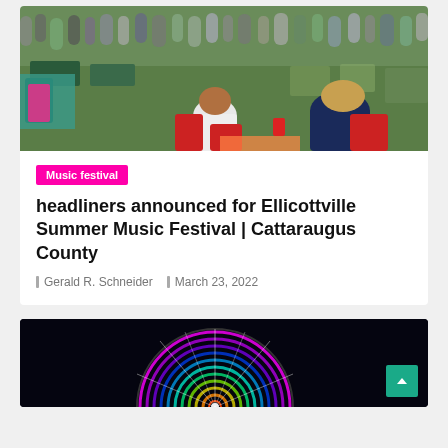[Figure (photo): Outdoor music festival crowd scene with people seated in chairs on a lawn, viewed from behind]
Music festival
headliners announced for Ellicottville Summer Music Festival | Cattaraugus County
Gerald R. Schneider   March 23, 2022
[Figure (photo): Colorful illuminated ferris wheel photographed at night with light trails creating rainbow patterns]